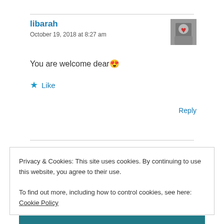libarah
October 19, 2018 at 8:27 am
You are welcome dear 😍
★ Like
Reply
Privacy & Cookies: This site uses cookies. By continuing to use this website, you agree to their use.
To find out more, including how to control cookies, see here: Cookie Policy
Close and accept
▲ Liked by 5 people